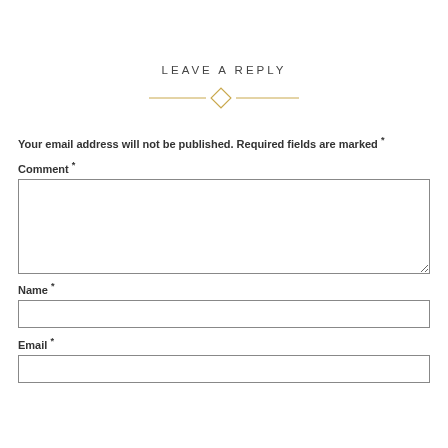LEAVE A REPLY
[Figure (illustration): Decorative horizontal divider: two horizontal gold lines with a small gold diamond shape in the center]
Your email address will not be published. Required fields are marked *
Comment *
Name *
Email *